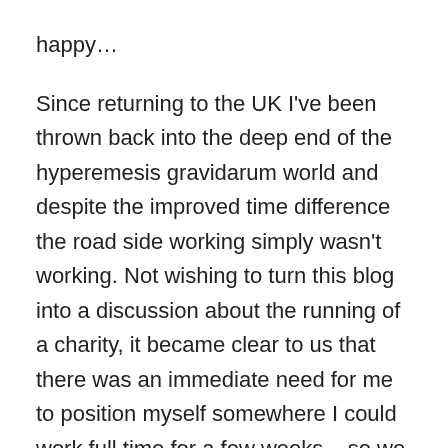happy…
Since returning to the UK I've been thrown back into the deep end of the hyperemesis gravidarum world and despite the improved time difference the road side working simply wasn't working. Not wishing to turn this blog into a discussion about the running of a charity, it became clear to us that there was an immediate need for me to position myself somewhere I could work full time for a few weeks – so we descended last night on our house sitter, who rather conveniently happens to be my bezzie mate. Our house is much bigger than we remember after living in a car for the last six months! Today, with a stonking hangover far worse than I've experienced in quite some time after celebrations and stories last night, I have worked my little socks off trying to get things back under control and catch up with